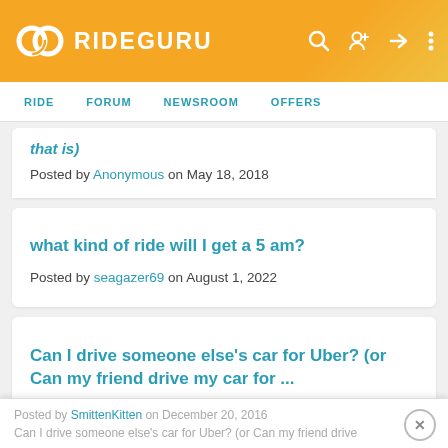RIDEGURU
RIDE  FORUM  NEWSROOM  OFFERS
that is)
Posted by Anonymous on May 18, 2018
what kind of ride will I get a 5 am?
Posted by seagazer69 on August 1, 2022
Can I drive someone else's car for Uber? (or Can my friend drive my car for ...
Posted by SmittenKitten on December 20, 2016
Can I drive someone else's car for Uber? (or Can my friend drive